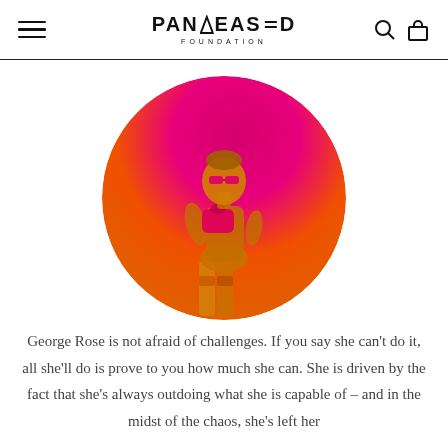PANGEASED FOUNDATION
[Figure (photo): Circular cropped photo of George Rose, a person posed confidently against a hot pink to orange gradient background, wearing pink sunglasses and a yellow outfit, holding a pink bag.]
George Rose is not afraid of challenges. If you say she can't do it, all she'll do is prove to you how much she can. She is driven by the fact that she's always outdoing what she is capable of – and in the midst of the chaos, she's left her